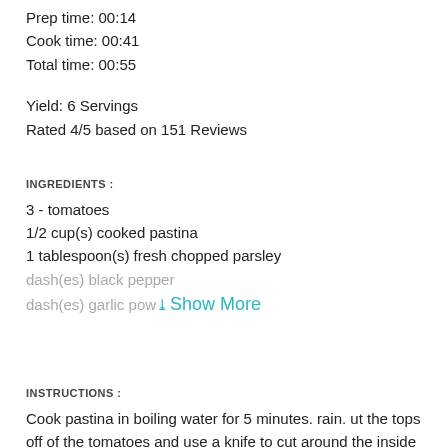Prep time: 00:14
Cook time: 00:41
Total time: 00:55
Yield: 6 Servings
Rated 4/5 based on 151 Reviews
INGREDIENTS :
3 - tomatoes
1/2 cup(s) cooked pastina
1 tablespoon(s) fresh chopped parsley
dash(es) black pepper
dash(es) garlic powder
Show More
INSTRUCTIONS :
Cook pastina in boiling water for 5 minutes. rain. ut the tops off of the tomatoes and use a knife to cut around the inside separating the flesh from the skin. Scoop out